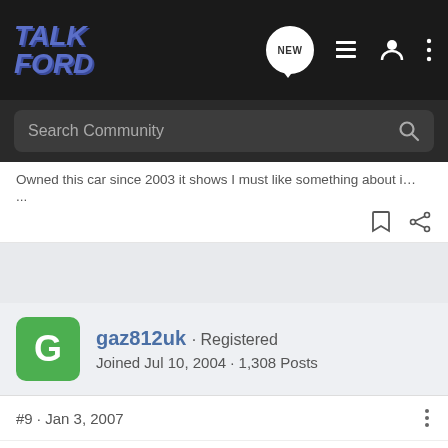[Figure (logo): TalkFord forum logo in blue italic bold text with navigation icons on dark background]
Search Community
Owned this car since 2003 it shows I must like something about it for ...
...
gaz812uk · Registered
Joined Jul 10, 2004 · 1,308 Posts
#9 · Jan 3, 2007
looking good matey.. :L